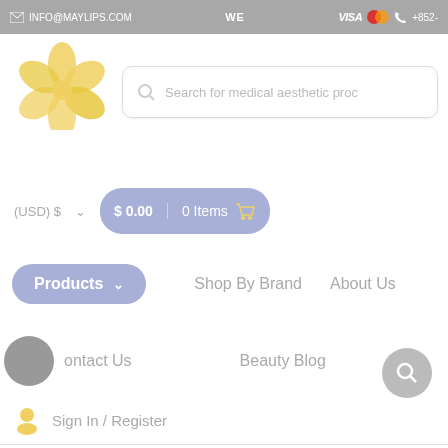INFO@MAYLIPS.COM | WE | VISA | +852-
[Figure (logo): Maylips flower logo with yellow petals on white background]
Search for medical aesthetic proc
(USD) $ ∨   $ 0.00  |  0 Items  🛒
Products ∨
Shop By Brand
About Us
Contact Us
Beauty Blog
Sign In / Register
[Figure (other): Floating search button (magnifying glass icon) at bottom right]